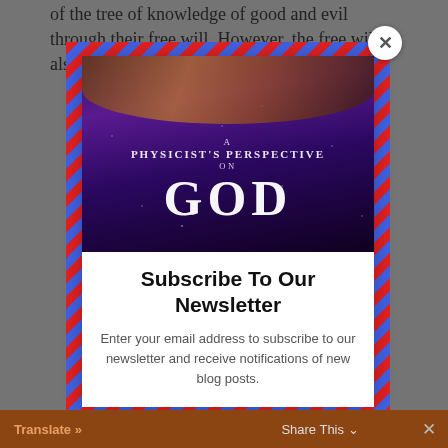of the tree of knowledge of good and evil through their free will. However, the free will is also
[Figure (screenshot): Modal popup with airmail diagonal stripe border. Contains a book cover image for 'A Physicist's Perspective on GOD' with a dark purple/galaxy background and nebula imagery. Below the image is a newsletter subscription call-to-action.]
Subscribe To Our Newsletter
Enter your email address to subscribe to our newsletter and receive notifications of new blog posts.
Translate »    Share This    ×